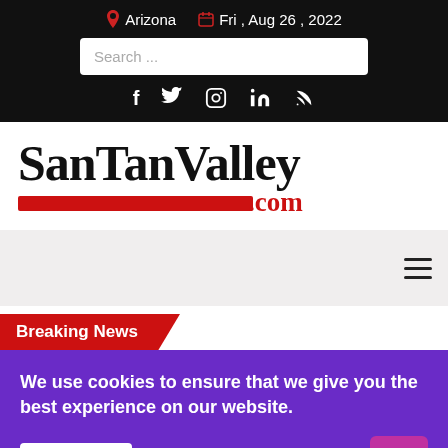Arizona  Fri, Aug 26, 2022
[Figure (screenshot): Search input box with placeholder text 'Search ...']
[Figure (infographic): Social media icons: Facebook, Twitter, Instagram, LinkedIn, RSS]
[Figure (logo): SanTanValley.com logo with red bar underline]
[Figure (other): Hamburger menu icon (three horizontal lines)]
Breaking News
We use cookies to ensure that we give you the best experience on our website.
I accept